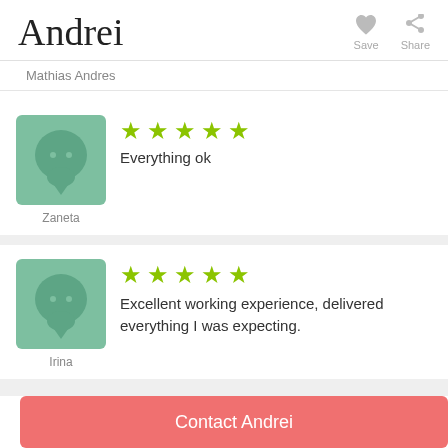Andrei
[Figure (other): Save and Share icons in top right corner]
Mathias Andres
[Figure (illustration): Avatar icon with speech bubble face for Zaneta]
★★★★★ Everything ok
Zaneta
[Figure (illustration): Avatar icon with speech bubble face for Irina]
★★★★★ Excellent working experience, delivered everything I was expecting.
Irina
Contact Andrei